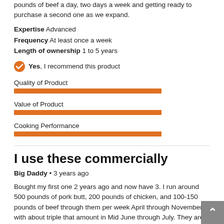pounds of beef a day, two days a week and getting ready to purchase a second one as we expand.
Expertise Advanced
Frequency At least once a week
Length of ownership 1 to 5 years
Yes, I recommend this product
[Figure (infographic): Rating bar for Quality of Product, approximately 4 out of 5]
[Figure (infographic): Rating bar for Value of Product, approximately 4 out of 5]
[Figure (infographic): Rating bar for Cooking Performance, approximately 4 out of 5]
I use these commercially
Big Daddy • 3 years ago
Bought my first one 2 years ago and now have 3. I run around 500 pounds of pork butt, 200 pounds of chicken, and 100-150 pounds of beef through them per week April through November with about triple that amount in Mid June through July. They are build rugged and take the abuse of traveling 300-350 miles per week in the trailer. Only complaint I would have is the flow/circulation could be better. Have no problems keeping it or keeping cooler as the different